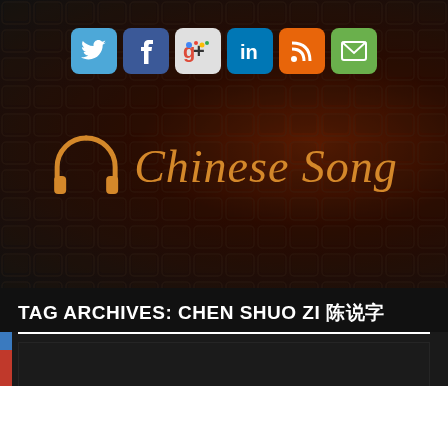[Figure (logo): Chinese Song website logo with headphones icon in orange/gold and italic serif text]
[Figure (infographic): Social media icons row: Twitter (blue), Facebook (blue), Google+ (multicolor), LinkedIn (blue), RSS (orange), Email (green)]
TAG ARCHIVES: CHEN SHUO ZI 陈说字
[Figure (screenshot): Dark content area with small ellipsis dots, representing an embedded media player or content block]